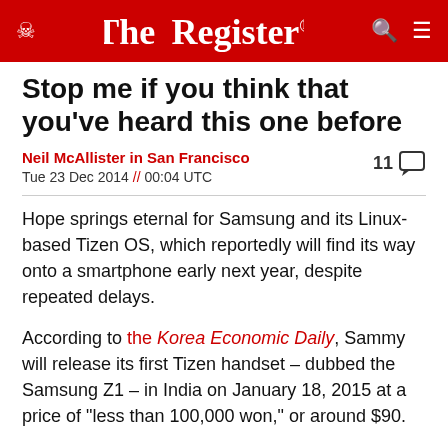The Register
Stop me if you think that you've heard this one before
Neil McAllister in San Francisco
Tue 23 Dec 2014 // 00:04 UTC
11 comments
Hope springs eternal for Samsung and its Linux-based Tizen OS, which reportedly will find its way onto a smartphone early next year, despite repeated delays.
According to the Korea Economic Daily, Sammy will release its first Tizen handset – dubbed the Samsung Z1 – in India on January 18, 2015 at a price of "less than 100,000 won," or around $90.
We've certainly heard similar stories before – many times, in fact. Samsung first said that it would release